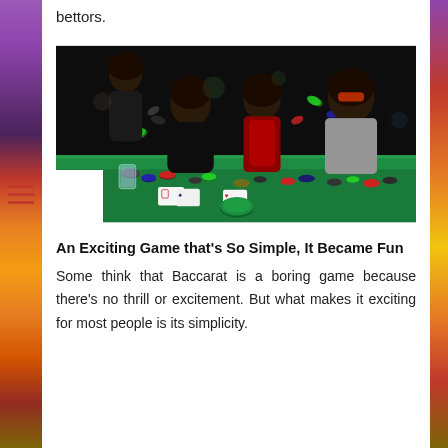bettors.
[Figure (photo): Group of people around a casino table with poker chips flying in the air. A woman in a red dress smiles while a man in sunglasses and another couple look on at the green felt table covered with chips and cards.]
An Exciting Game that's So Simple, It Became Fun
Some think that Baccarat is a boring game because there's no thrill or excitement. But what makes it exciting for most people is its simplicity.